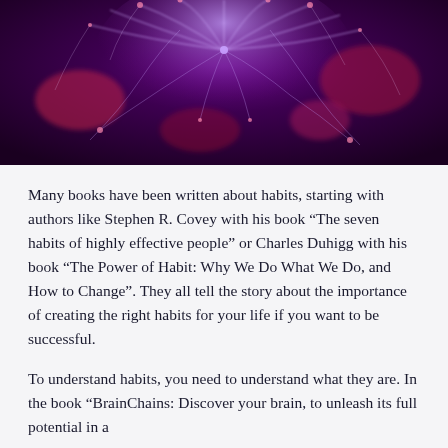[Figure (photo): Close-up photograph of glowing neural connections or plasma-like electric filaments in purple and pink tones, suggesting brain activity or synaptic connections.]
Many books have been written about habits, starting with authors like Stephen R. Covey with his book “The seven habits of highly effective people” or Charles Duhigg with his book “The Power of Habit: Why We Do What We Do, and How to Change”. They all tell the story about the importance of creating the right habits for your life if you want to be successful.
To understand habits, you need to understand what they are. In the book “BrainChains: Discover your brain, to unleash its full potential in a